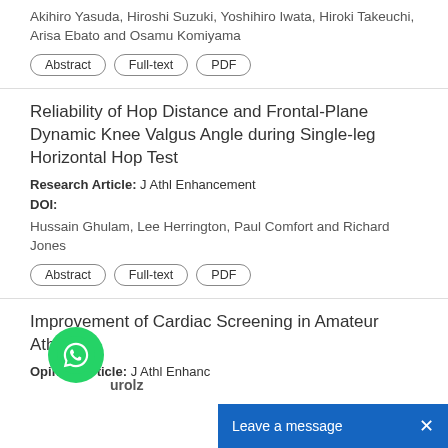Akihiro Yasuda, Hiroshi Suzuki, Yoshihiro Iwata, Hiroki Takeuchi, Arisa Ebato and Osamu Komiyama
Abstract | Full-text | PDF
Reliability of Hop Distance and Frontal-Plane Dynamic Knee Valgus Angle during Single-leg Horizontal Hop Test
Research Article: J Athl Enhancement
DOI:
Hussain Ghulam, Lee Herrington, Paul Comfort and Richard Jones
Abstract | Full-text | PDF
Improvement of Cardiac Screening in Amateur Athletes
Opinion Article: J Athl Enhanc
urolz
Full-text | PDF
Leave a message  ×